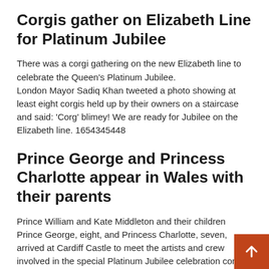Corgis gather on Elizabeth Line for Platinum Jubilee
There was a corgi gathering on the new Elizabeth line to celebrate the Queen's Platinum Jubilee.
London Mayor Sadiq Khan tweeted a photo showing at least eight corgis held up by their owners on a staircase and said: 'Corg' blimey! We are ready for Jubilee on the Elizabeth line. 1654345448
Prince George and Princess Charlotte appear in Wales with their parents
Prince William and Kate Middleton and their children Prince George, eight, and Princess Charlotte, seven, arrived at Cardiff Castle to meet the artists and crew involved in the special Platinum Jubilee celebration concert which takes place in the park of the castle, Saturday afternoon